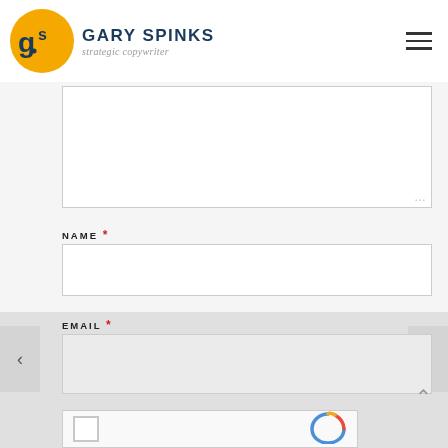GARY SPINKS strategic copywriter
[Figure (screenshot): Contact form with textarea, NAME, EMAIL, WEBSITE fields and reCAPTCHA]
NAME *
EMAIL *
WEBSITE